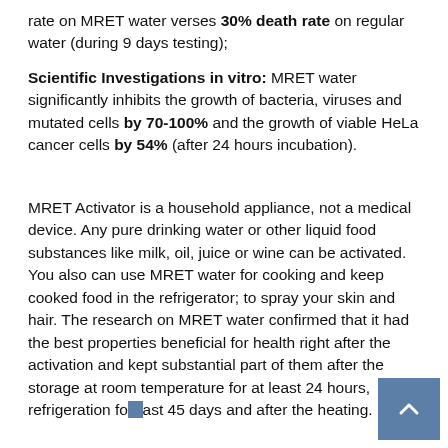rate on MRET water verses 30% death rate on regular water (during 9 days testing);
Scientific Investigations in vitro: MRET water significantly inhibits the growth of bacteria, viruses and mutated cells by 70-100% and the growth of viable HeLa cancer cells by 54% (after 24 hours incubation).
MRET Activator is a household appliance, not a medical device. Any pure drinking water or other liquid food substances like milk, oil, juice or wine can be activated. You also can use MRET water for cooking and keep cooked food in the refrigerator; to spray your skin and hair. The research on MRET water confirmed that it had the best properties beneficial for health right after the activation and kept substantial part of them after the storage at room temperature for at least 24 hours, refrigeration for at least 45 days and after the heating.